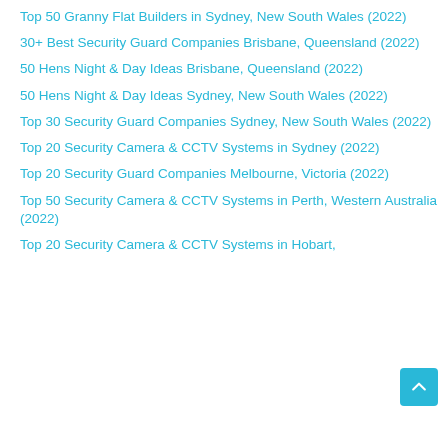Top 50 Granny Flat Builders in Sydney, New South Wales (2022)
30+ Best Security Guard Companies Brisbane, Queensland (2022)
50 Hens Night & Day Ideas Brisbane, Queensland (2022)
50 Hens Night & Day Ideas Sydney, New South Wales (2022)
Top 30 Security Guard Companies Sydney, New South Wales (2022)
Top 20 Security Camera & CCTV Systems in Sydney (2022)
Top 20 Security Guard Companies Melbourne, Victoria (2022)
Top 50 Security Camera & CCTV Systems in Perth, Western Australia (2022)
Top 20 Security Camera & CCTV Systems in Hobart, Tasmania (2022)